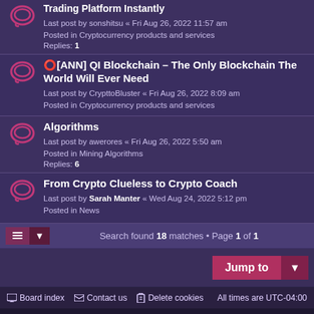Trading Platform Instantly
Last post by sonshitsu « Fri Aug 26, 2022 11:57 am
Posted in Cryptocurrency products and services
Replies: 1
[ANN] QI Blockchain – The Only Blockchain The World Will Ever Need
Last post by CrypttoBluster « Fri Aug 26, 2022 8:09 am
Posted in Cryptocurrency products and services
Algorithms
Last post by awerores « Fri Aug 26, 2022 5:50 am
Posted in Mining Algorithms
Replies: 6
From Crypto Clueless to Crypto Coach
Last post by Sarah Manter « Wed Aug 24, 2022 5:12 pm
Posted in News
Search found 18 matches · Page 1 of 1
Board index  Contact us  Delete cookies  All times are UTC-04:00
Powered by phpBB® Forum Software © phpBB Limited
Style by Arty – Update phpBB 3.2 by MrGaby